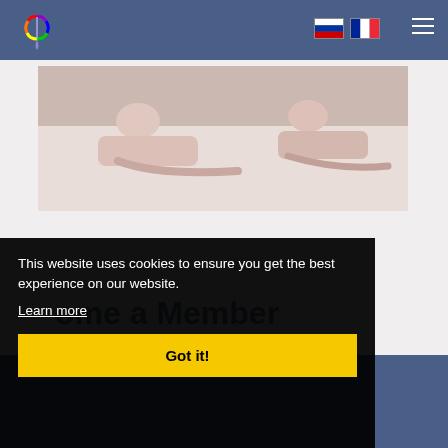Website header with logo, Russian and French flag icons, and hamburger menu
[Figure (photo): Two figures lying on a white surface, partially visible, cropped image]
This website uses cookies to ensure you get the best experience on our website.
Learn more
Got it!
ome a Member